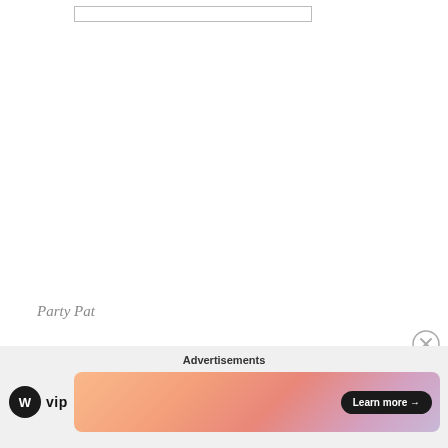[Figure (screenshot): Input text box at top of page, empty, with border]
Party Pat
[Figure (screenshot): Input box with small image/icon at left side]
[Figure (other): Close/dismiss button (X in circle) on right side]
Advertisements
[Figure (logo): WordPress VIP logo with circle W icon and VIP text]
[Figure (other): Advertisement card with gradient background (peach/coral/pink) and Learn more button]